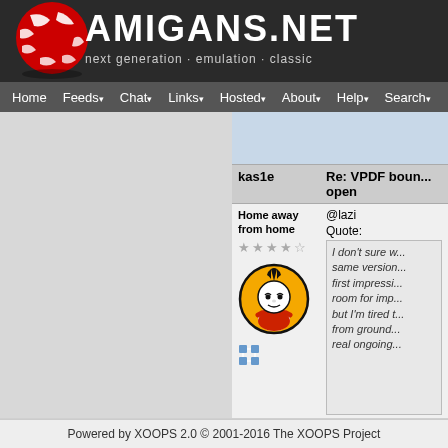[Figure (logo): Amigans.net website header with red/white checkered ball logo on left and AMIGANS.NET title text with tagline 'next generation · emulation · classic' on dark background]
Home  Feeds  Chat  Links  Hosted  About  Help  Search
[Figure (screenshot): Forum post area showing user kas1e with avatar (cartoon punk character on orange circle), role 'Home away from home', star rating, and reply post titled 'Re: VPDF boun... open' with quote block containing italic text about impressions and ongoing work. Bottom shows 'We just can't be...']
Powered by XOOPS 2.0 © 2001-2016 The XOOPS Project